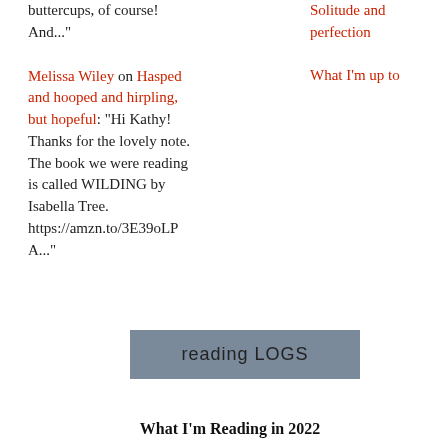buttercups, of course! And..."
Melissa Wiley on Hasped and hooped and hirpling, but hopeful: “Hi Kathy! Thanks for the lovely note. The book we were reading is called WILDING by Isabella Tree. https://amzn.to/3E39oLPA...”
Solitude and perfection
What I'm up to
[Figure (other): Reading Logs banner button with grey background]
What I'm Reading in 2022